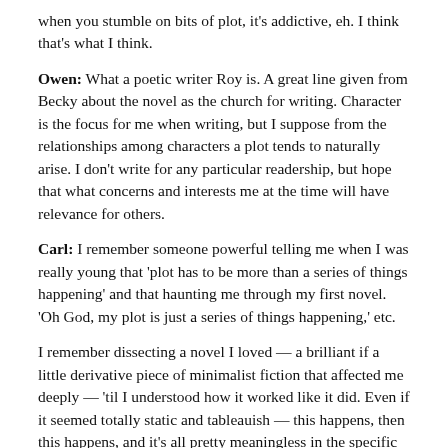when you stumble on bits of plot, it's addictive, eh. I think that's what I think.
Owen: What a poetic writer Roy is. A great line given from Becky about the novel as the church for writing. Character is the focus for me when writing, but I suppose from the relationships among characters a plot tends to naturally arise. I don't write for any particular readership, but hope that what concerns and interests me at the time will have relevance for others.
Carl: I remember someone powerful telling me when I was really young that 'plot has to be more than a series of things happening' and that haunting me through my first novel. 'Oh God, my plot is just a series of things happening,' etc.
I remember dissecting a novel I loved — a brilliant if a little derivative piece of minimalist fiction that affected me deeply — 'til I understood how it worked like it did. Even if it seemed totally static and tableauish — this happens, then this happens, and it's all pretty meaningless in the specific details — still, it